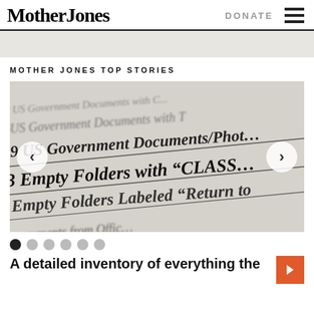Mother Jones
DONATE
MOTHER JONES TOP STORIES
[Figure (photo): Close-up photograph of a document listing items including '7 US Government Documents with T...', '69 US Government Documents/Photo...', '43 Empty Folders with "CLASS..."', '8 Empty Folders Labeled "Return to..."', with carousel navigation arrows on left and right sides.]
A detailed inventory of everything the